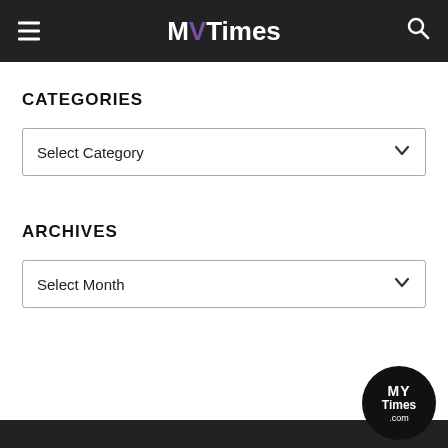MV Times
CATEGORIES
Select Category
ARCHIVES
Select Month
[Figure (logo): MV Times circular badge logo on bottom right]